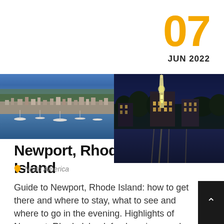07
JUN 2022
[Figure (photo): Aerial view of Newport Rhode Island harbor and cityscape during daytime]
[Figure (photo): Night view of Newport Rhode Island with illuminated church steeple and waterfront buildings]
Newport, Rhode Island
North America
Guide to Newport, Rhode Island: how to get there and where to stay, what to see and where to go in the evening. Highlights of Newport, Rhode Island: fresh reviews and photos, places to see, signature